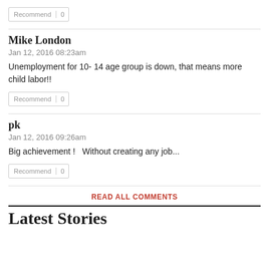[Figure (other): Recommend button with count 0]
Mike London
Jan 12, 2016 08:23am
Unemployment for 10- 14 age group is down, that means more child labor!!
[Figure (other): Recommend button with count 0]
pk
Jan 12, 2016 09:26am
Big achievement !   Without creating any job...
[Figure (other): Recommend button with count 0]
READ ALL COMMENTS
Latest Stories